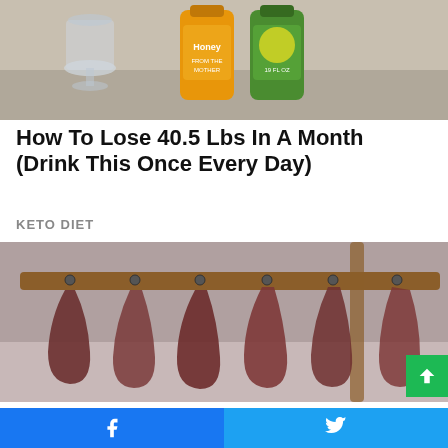[Figure (photo): Honey bottle, lemon juice bottle, and a glass on a kitchen counter — ingredients for a health drink]
How To Lose 40.5 Lbs In A Month (Drink This Once Every Day)
KETO DIET
[Figure (photo): Dried or smoked meats hanging from a wooden rack]
Diabetes Is Not From Sweets! Meet The Main
Facebook share | Twitter share